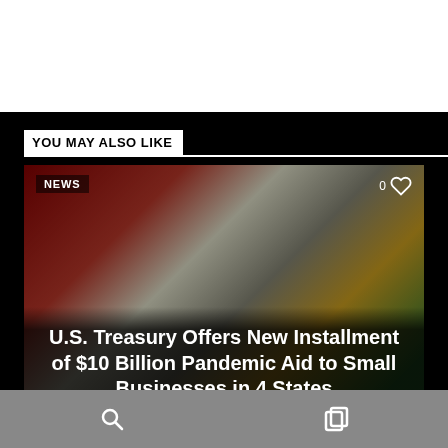YOU MAY ALSO LIKE
[Figure (photo): News article card showing a woman speaking at a podium with American flag in background, overlaid with article title text. Badge shows 'NEWS' top-left, like count '0' with heart icon top-right.]
U.S. Treasury Offers New Installment of $10 Billion Pandemic Aid to Small Businesses in 4 States